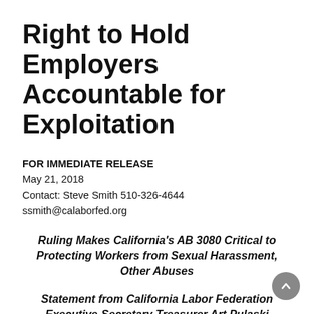Right to Hold Employers Accountable for Exploitation
FOR IMMEDIATE RELEASE
May 21, 2018
Contact: Steve Smith 510-326-4644
ssmith@calaborfed.org
Ruling Makes California's AB 3080 Critical to Protecting Workers from Sexual Harassment, Other Abuses
Statement from California Labor Federation Executive-Secretary Treasurer Art Pulaski